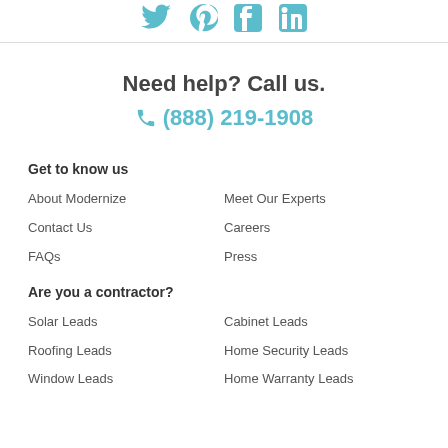[Figure (logo): Social media icons: Twitter, Pinterest, Facebook, LinkedIn in teal color]
Need help? Call us.
(888) 219-1908
Get to know us
About Modernize
Meet Our Experts
Contact Us
Careers
FAQs
Press
Are you a contractor?
Solar Leads
Cabinet Leads
Roofing Leads
Home Security Leads
Window Leads
Home Warranty Leads